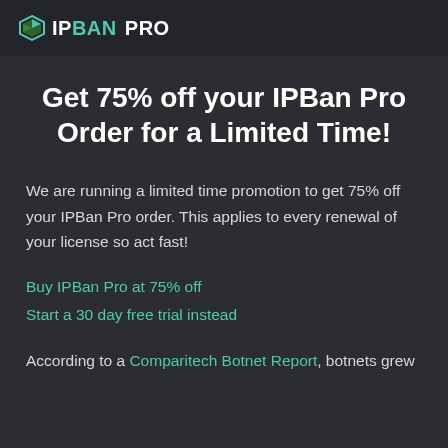IPBAN PRO
Get 75% off your IPBan Pro Order for a Limited Time!
We are running a limited time promotion to get 75% off your IPBan Pro order. This applies to every renewal of your license so act fast!
Buy IPBan Pro at 75% off
Start a 30 day free trial instead
According to a Comparitech Botnet Report, botnets grew